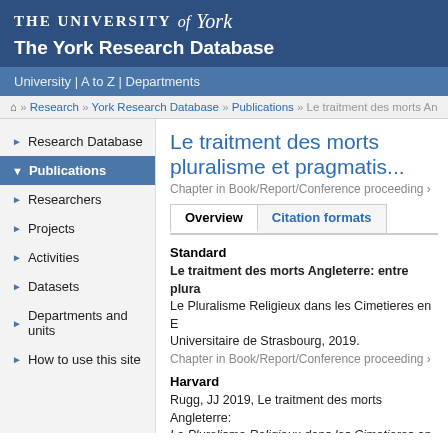The University of York - The York Research Database
University | A to Z | Departments
Home » Research » York Research Database » Publications » Le traitment des morts An...
Research Database
Publications
Researchers
Projects
Activities
Datasets
Departments and units
How to use this site
Le traitment des morts pluralisme et pragmatis...
Chapter in Book/Report/Conference proceeding ›
Overview | Citation formats
Standard
Le traitment des morts Angleterre: entre plura... Le Pluralisme Religieux dans les Cimetieres en E... Universitaire de Strasbourg, 2019. Chapter in Book/Report/Conference proceeding ›
Harvard
Rugg, JJ 2019, Le traitment des morts Angleterre: ... Le Pluralisme Religieux dans les Cimetieres en E... Strasbourg.